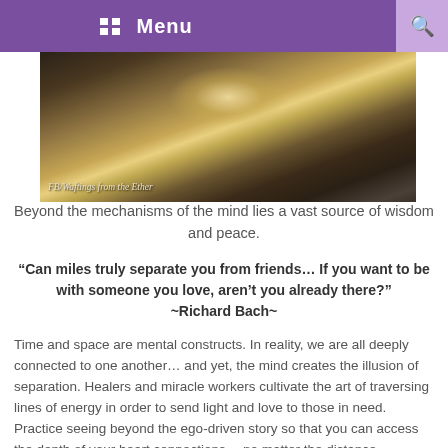Menu
[Figure (photo): Dark atmospheric banner image with golden glowing center light, with text 'FB/Waftings from the Ether' in the lower left]
Beyond the mechanisms of the mind lies a vast source of wisdom and peace.
“Can miles truly separate you from friends… If you want to be with someone you love, aren’t you already there?” ~Richard Bach~
Time and space are mental constructs. In reality, we are all deeply connected to one another… and yet, the mind creates the illusion of separation. Healers and miracle workers cultivate the art of traversing lines of energy in order to send light and love to those in need. Practice seeing beyond the ego-driven story so that you can access the depth of your heart connections… no matter the distance.